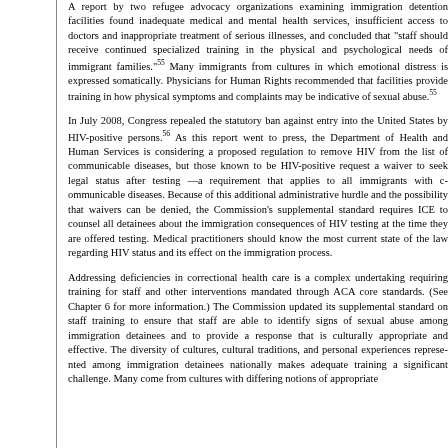A report by two refugee advocacy organizations examining immigration detention facilities found inadequate medical and mental health services, insufficient access to doctors and inappropriate treatment of serious illnesses, and concluded that "staff should receive continued specialized training in the physical and psychological needs of immigrant families."55 Many immigrants from cultures in which emotional distress is expressed somatically. Physicians for Human Rights recommended that facilities provide training in how physical symptoms and complaints may be indicative of sexual abuse.55
In July 2008, Congress repealed the statutory ban against entry into the United States by HIV-positive persons.56 As this report went to press, the Department of Health and Human Services is considering a proposed regulation to remove HIV from the list of communicable diseases, but those known to be HIV-positive request a waiver to seek legal status after testing —a requirement that applies to all immigrants with communicable diseases. Because of this additional administrative hurdle and the possibility that waivers can be denied, the Commission's supplemental standard requires ICE to counsel all detainees about the immigration consequences of HIV testing at the time they are offered testing. Medical practitioners should know the most current state of the law regarding HIV status and its effect on the immigration process.
Addressing deficiencies in correctional health care is a complex undertaking requiring training for staff and other interventions mandated through ACA core standards. (See Chapter 6 for more information.) The Commission updated its supplemental standard on staff training to ensure that staff are able to identify signs of sexual abuse among immigration detainees and to provide a response that is culturally appropriate and effective. The diversity of cultures, cultural traditions, and personal experiences represented among immigration detainees nationally makes adequate training a significant challenge. Many come from cultures with differing notions of appropriate...